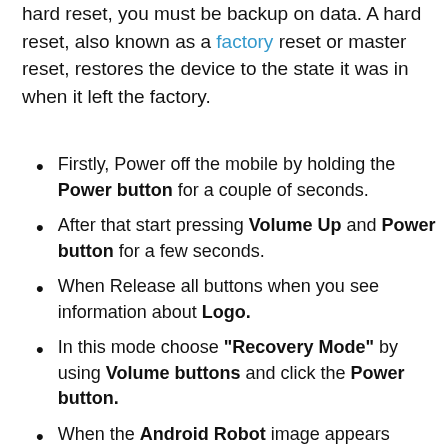hard reset, you must be backup on data. A hard reset, also known as a factory reset or master reset, restores the device to the state it was in when it left the factory.
Firstly, Power off the mobile by holding the Power button for a couple of seconds.
After that start pressing Volume Up and Power button for a few seconds.
When Release all buttons when you see information about Logo.
In this mode choose "Recovery Mode" by using Volume buttons and click the Power button.
When the Android Robot image appears press Volume Up and Power buttons.
Now use Volume buttons to